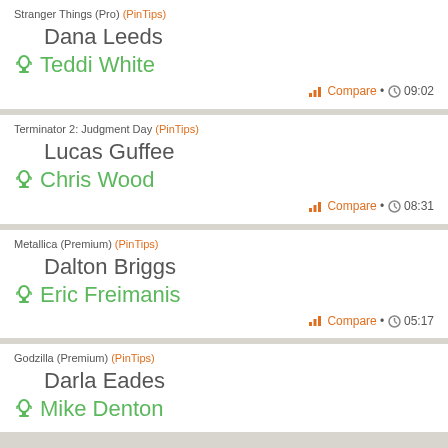Stranger Things (Pro) (PinTips)
Dana Leeds
Teddi White
Compare • 09:02
Terminator 2: Judgment Day (PinTips)
Lucas Guffee
Chris Wood
Compare • 08:31
Metallica (Premium) (PinTips)
Dalton Briggs
Eric Freimanis
Compare • 05:17
Godzilla (Premium) (PinTips)
Darla Eades
Mike Denton